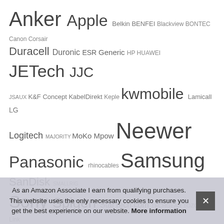[Figure (infographic): Tag cloud of brand names with varying font sizes indicating frequency/weight: Anker, Apple (large), Belkin, BENFEI, Blackview, BONTEC, Canon, Corsair, Duracell, Duronic, ESR, Generic, HP, HUAWEI, JETech (large), JJC (large), JSAUX, K&F Concept, KabelDirekt, Keple, kwmobile (large), Lamicall, LG, Logitech, MAJORITY, MoKo, Mpow, Neewer (very large), Panasonic (large), rhinocables, Samsung (very large), SanDisk (medium-large), SMALLRIG, Sony (large), Spigen (large), StarTech.com, TECHGEAR, TOZO, TP-Link, UGREEN (very large), UNBREAKcable]
Recent Posts
T
T
T
As an Amazon Associate I earn from qualifying purchases. This website uses the only necessary cookies to ensure you get the best experience on our website. More information